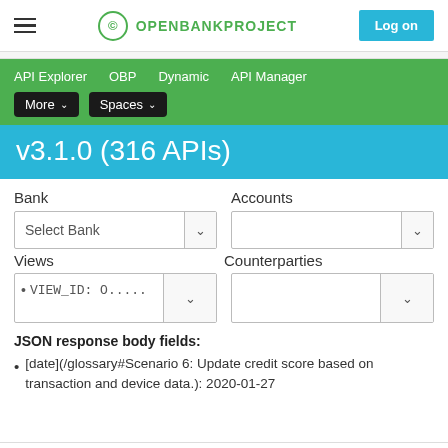OPENBANKPROJECT | Log on
API Explorer  OBP  Dynamic  API Manager  More  Spaces
v3.1.0 (316 APIs)
Bank
Accounts
Select Bank
Views
Counterparties
VIEW_ID: O.....
JSON response body fields:
[date](/glossary#Scenario 6: Update credit score based on transaction and device data.): 2020-01-27